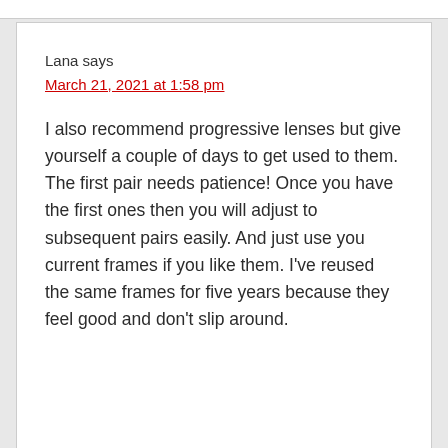Lana says
March 21, 2021 at 1:58 pm
I also recommend progressive lenses but give yourself a couple of days to get used to them. The first pair needs patience! Once you have the first ones then you will adjust to subsequent pairs easily. And just use you current frames if you like them. I've reused the same frames for five years because they feel good and don't slip around.